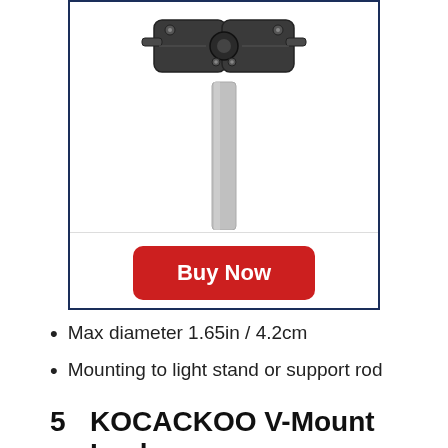[Figure (photo): Product photo of a V-Mount lock/clamp device mounted on a silver pole/stand, showing dark grey/black mechanical clamp hardware from above, on white background inside a dark navy border box with a red Buy Now button below the image.]
Max diameter 1.65in / 4.2cm
Mounting to light stand or support rod
5    KOCACKOO V-Mount Lock